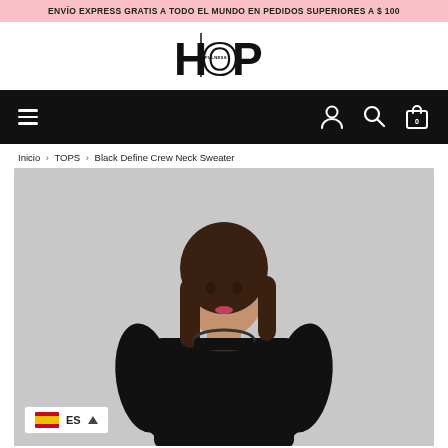ENVÍO EXPRESS GRATIS A TODO EL MUNDO EN PEDIDOS SUPERIORES A $ 100
[Figure (logo): HOP Mindfulness brand logo with stylized text]
[Figure (infographic): Black navigation bar with hamburger menu icon on left and user/search/cart icons on right]
Inicio > TOPS > Black Define Crew Neck Sweater
[Figure (photo): Female model wearing a black crew neck sweater, photographed against a light grey background. A language selector (ES / Spain flag) is overlaid at the bottom left of the image.]